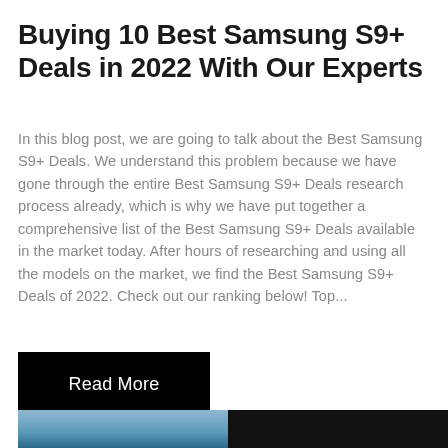Buying 10 Best Samsung S9+ Deals in 2022 With Our Experts
In this blog post, we are going to talk about the Best Samsung S9+ Deals. We understand this problem because we have gone through the entire Best Samsung S9+ Deals research process already, which is why we have put together a comprehensive list of the Best Samsung S9+ Deals available in the market today. After hours of researching and using all the models on the market, we find the Best Samsung S9+ Deals of 2022. Check out our ranking below! Top...
Read More
[Figure (photo): Photo of Samsung S9+ smartphone devices, showing phones with blue and black backs, one with visible dual cameras]